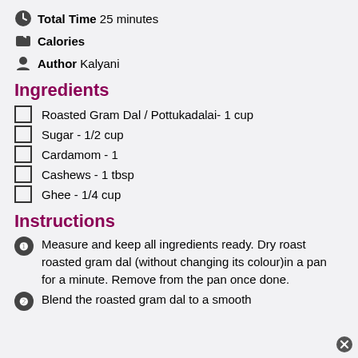⏱ Total Time 25 minutes
⬛ Calories
👨‍🍳 Author Kalyani
Ingredients
Roasted Gram Dal / Pottukadalai- 1 cup
Sugar - 1/2 cup
Cardamom - 1
Cashews - 1 tbsp
Ghee - 1/4 cup
Instructions
Measure and keep all ingredients ready. Dry roast roasted gram dal (without changing its colour)in a pan for a minute. Remove from the pan once done.
Blend the roasted gram dal to a smooth